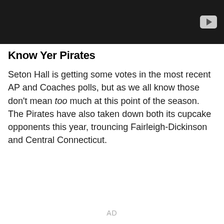[Figure (other): Black video banner with a play button icon in the upper right corner]
Know Yer Pirates
Seton Hall is getting some votes in the most recent AP and Coaches polls, but as we all know those don't mean too much at this point of the season. The Pirates have also taken down both its cupcake opponents this year, trouncing Fairleigh-Dickinson and Central Connecticut.
AD